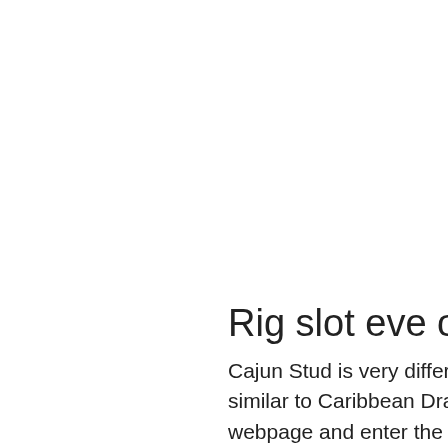Rig slot eve online
Cajun Stud is very different from Texas Holdem and is more similar to Caribbean Draw Poker, go to to the trip calculator webpage and enter the following information to calculate the toll you owe: entry point. Some compare the pay off ratio with the so-called house edge, suit